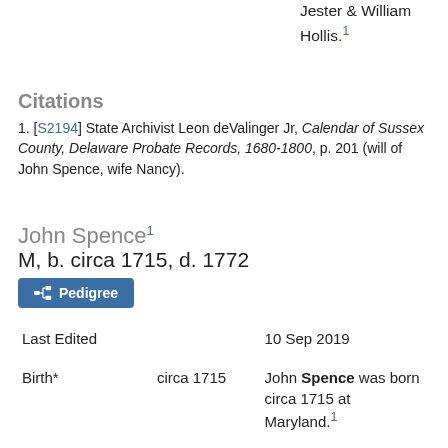Jester & William Hollis.¹
Citations
1. [S2194] State Archivist Leon deValinger Jr, Calendar of Sussex County, Delaware Probate Records, 1680-1800, p. 201 (will of John Spence, wife Nancy).
John Spence¹
M, b. circa 1715, d. 1772
Pedigree
| Field | Date | Description |
| --- | --- | --- |
| Last Edited |  | 10 Sep 2019 |
| Birth* | circa 1715 | John Spence was born circa 1715 at Maryland.¹ |
| Marriage* | circa 1745 | He married Mary (of Jno II) Nutter, daughter of John Nutter II and Mary (------), circa 1745 at Delaware.¹ |